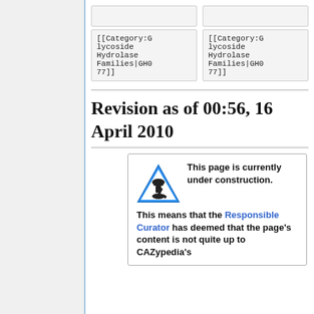[Figure (other): Two empty grey boxes side by side at top]
[[Category:Glycoside Hydrolase Families|GH077]]
[[Category:Glycoside Hydrolase Families|GH077]]
Revision as of 00:56, 16 April 2010
[Figure (infographic): Under construction notice box with blue triangle construction warning sign icon and bold text: 'This page is currently under construction. This means that the Responsible Curator has deemed that the page's content is not quite up to CAZypedia's']